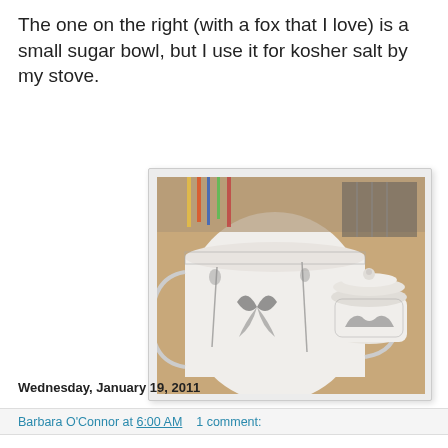The one on the right (with a fox that I love) is a small sugar bowl, but I use it for kosher salt by my stove.
[Figure (photo): Two decorative porcelain pieces on a wooden surface: a large mug with a butterfly and floral toile design on the left, and a small lidded sugar bowl with a fox hunt toile design on the right. In the background, pencils and books are visible.]
Barbara O'Connor at 6:00 AM   1 comment:
Share
Wednesday, January 19, 2011
Today's Trivia